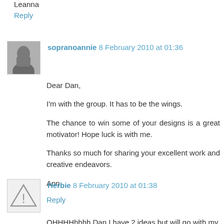Leanna
Reply
sopranoannie 8 February 2010 at 01:36
Dear Dan,

I'm with the group. It has to be the wings.

The chance to win some of your designs is a great motivator! Hope luck is with me.

Thanks so much for sharing your excellent work and creative endeavors.

Ann
Reply
Herbie 8 February 2010 at 01:38
OHHHHhhhh Dan I have 2 ideas but will go with my first